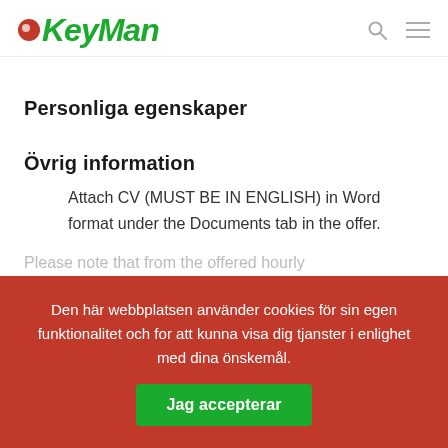KeyMan
Personliga egenskaper
Övrig information
Attach CV (MUST BE IN ENGLISH) in Word format under the Documents tab in the offer.
Please note that from the offered hourly
Den här webbplatsen använder cookies för sin egen funktionalitet och for att kunna visa dig tjanster i enlighet med dina önskemål. Jag accepterar